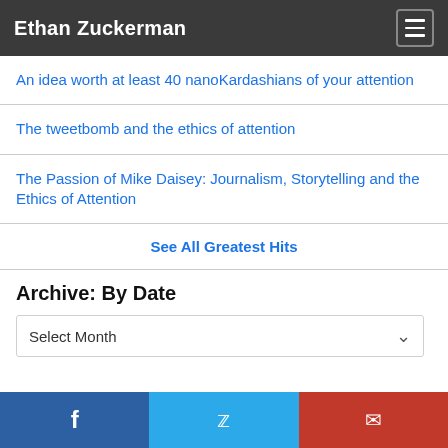Ethan Zuckerman
An idea worth at least 40 nanoKardashians of your attention
The tweetbomb and the ethics of attention
The Passion of Mike Daisey: Journalism, Storytelling and the Ethics of Attention
See All Greatest Hits
Archive: By Date
Select Month